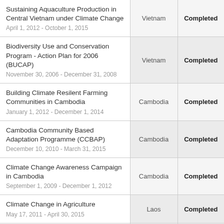| Project | Country | Status |
| --- | --- | --- |
| Sustaining Aquaculture Production in Central Vietnam under Climate Change
April 1, 2012 - October 1, 2015 | Vietnam | Completed |
| Biodiversity Use and Conservation Program - Action Plan for 2006 (BUCAP)
November 30, 2006 - December 31, 2008 | Vietnam | Completed |
| Building Climate Resilent Farming Communities in Cambodia
January 1, 2012 - December 1, 2014 | Cambodia | Completed |
| Cambodia Community Based Adaptation Programme (CCBAP)
December 10, 2010 - March 31, 2015 | Cambodia | Completed |
| Climate Change Awareness Campaign in Cambodia
September 1, 2009 - December 1, 2012 | Cambodia | Completed |
| Climate Change in Agriculture
May 17, 2011 - April 30, 2015 | Laos | Completed |
| Climate Change Mitagation and Promotion of Palm-Sugar Production
January 5, 2012 - April 1, 2014 | Cambodia | Completed |